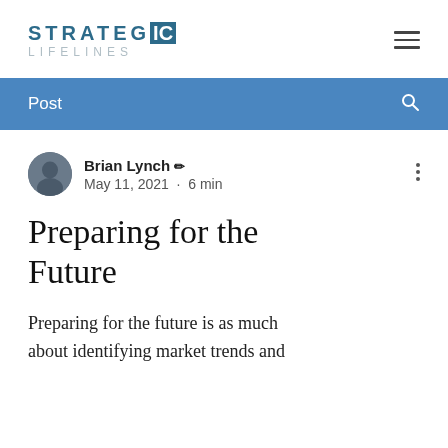STRATEGIC LIFELINES
Post
Brian Lynch ✏  May 11, 2021  ·  6 min
Preparing for the Future
Preparing for the future is as much about identifying market trends and